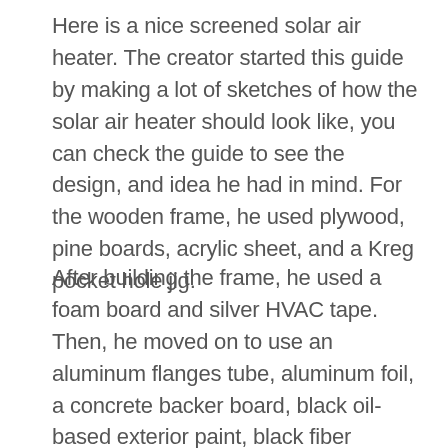Here is a nice screened solar air heater. The creator started this guide by making a lot of sketches of how the solar air heater should look like, you can check the guide to see the design, and idea he had in mind. For the wooden frame, he used plywood, pine boards, acrylic sheet, and a Kreg pocket hole jig.
After building the frame, he used a foam board and silver HVAC tape. Then, he moved on to use an aluminum flanges tube, aluminum foil, a concrete backer board, black oil-based exterior paint, black fiber screen, matte black high-temp paint,  thin copper wire, a 12V DC adapter, a 4-inch fan, a temp probe, silver HVAC tape, and construction